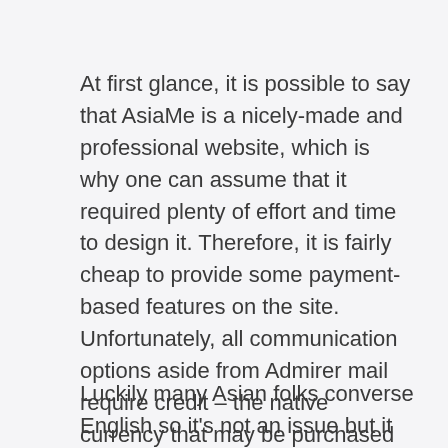At first glance, it is possible to say that AsiaMe is a nicely-made and professional website, which is why one can assume that it required plenty of effort and time to design it. Therefore, it is fairly cheap to provide some payment-based features on the site. Unfortunately, all communication options aside from Admirer mail require credit – the native currency that may be purchased through real money. So, you could understand that if you resolve to ship a message to your lovely Asian girlfriend, you will face a harsh actuality of recent online relationship services.
Luckily many Asian folks converse English so it's not an issue but it did assist generally a word just